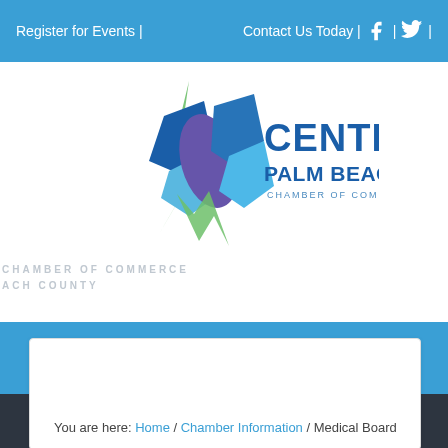Register for Events | Contact Us Today | f | t |
[Figure (logo): Central Palm Beach County Chamber of Commerce logo with abstract blue, purple and green geometric shapes]
CHAMBER OF COMMERCE
ACH COUNTY
☰ (hamburger menu icon)
You are here: Home / Chamber Information / Medical Board